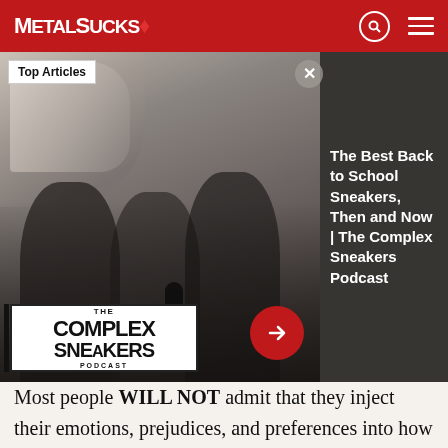MetalSucks
[Figure (screenshot): Advertisement overlay showing The Complex Sneakers Podcast with three men in a podcast studio setting, sneaker imagery top left, Complex Sneakers Podcast logo bottom left, red arrow button, and 'Top Articles' badge]
The Best Back to School Sneakers, Then and Now | The Complex Sneakers Podcast
Most people WILL NOT admit that they inject their emotions, prejudices, and preferences into how they perceive art. What bothers me is when critics and fans try to look into their fictitious seeing-stone to guess what the motivations behind a certain song or album is. People need to get through their thick ignorant heads that an album (or at least Earthsblood) is created over the course of maybe a year or 2 and is a collective collaboration. Trust me, all of the things you